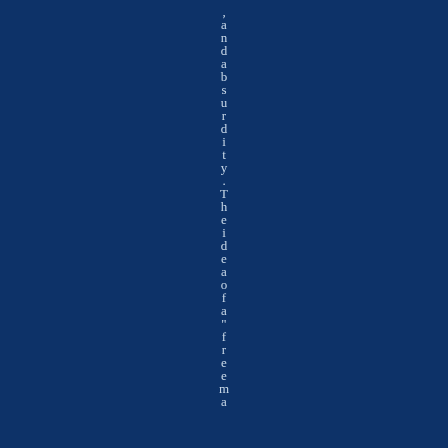and absurdity. The idea of a "freema